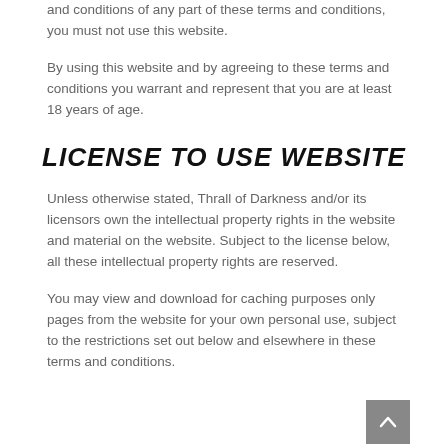and conditions of any part of these terms and conditions, you must not use this website.
By using this website and by agreeing to these terms and conditions you warrant and represent that you are at least 18 years of age.
LICENSE TO USE WEBSITE
Unless otherwise stated, Thrall of Darkness and/or its licensors own the intellectual property rights in the website and material on the website. Subject to the license below, all these intellectual property rights are reserved.
You may view and download for caching purposes only pages from the website for your own personal use, subject to the restrictions set out below and elsewhere in these terms and conditions.